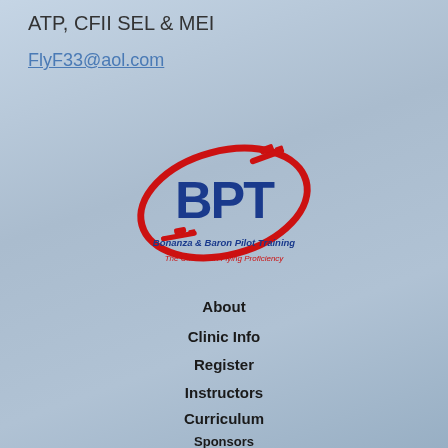ATP, CFII SEL & MEI
FlyF33@aol.com
[Figure (logo): Bonanza & Baron Pilot Training (BPT) logo with red swooping oval, airplane silhouettes, large blue BPT letters, and tagline 'The Ultimate in Flying Proficiency']
About
Clinic Info
Register
Instructors
Curriculum
Sponsors
Testimonials